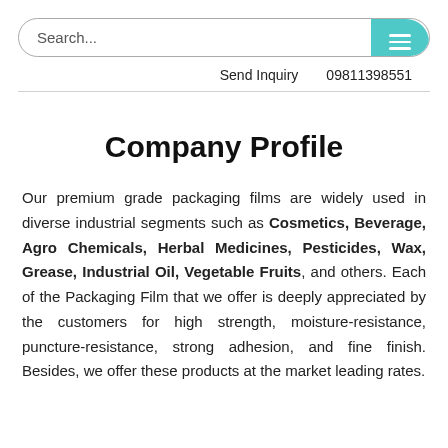Search...   Send Inquiry   09811398551
Company Profile
Our premium grade packaging films are widely used in diverse industrial segments such as Cosmetics, Beverage, Agro Chemicals, Herbal Medicines, Pesticides, Wax, Grease, Industrial Oil, Vegetable Fruits, and others. Each of the Packaging Film that we offer is deeply appreciated by the customers for high strength, moisture-resistance, puncture-resistance, strong adhesion, and fine finish. Besides, we offer these products at the market leading rates.